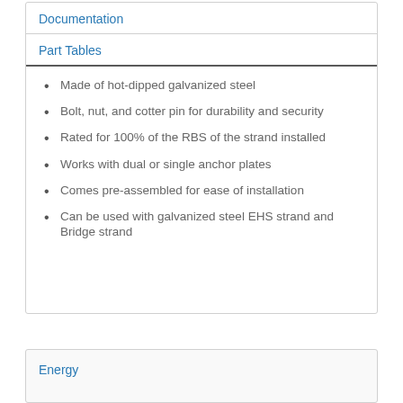Documentation
Part Tables
Made of hot-dipped galvanized steel
Bolt, nut, and cotter pin for durability and security
Rated for 100% of the RBS of the strand installed
Works with dual or single anchor plates
Comes pre-assembled for ease of installation
Can be used with galvanized steel EHS strand and Bridge strand
Energy